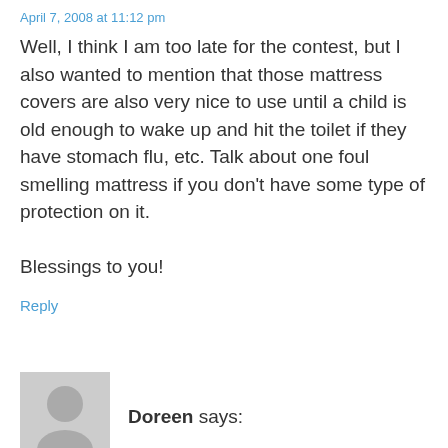April 7, 2008 at 11:12 pm
Well, I think I am too late for the contest, but I also wanted to mention that those mattress covers are also very nice to use until a child is old enough to wake up and hit the toilet if they have stomach flu, etc. Talk about one foul smelling mattress if you don't have some type of protection on it.

Blessings to you!
Reply
[Figure (illustration): Generic user avatar icon, gray silhouette of a person on gray background]
Doreen says:
April 7, 2008 at 11:05 pm
Necessary layers for incontinent adults: waterproof